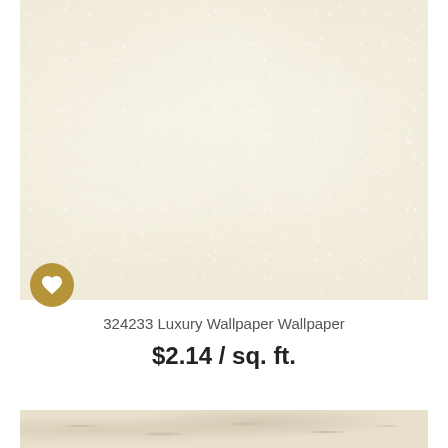[Figure (photo): Close-up product photo of a cream/ivory luxury wallpaper with subtle sparkle texture on a light beige background]
324233 Luxury Wallpaper Wallpaper
$2.14 / sq. ft.
[Figure (photo): Partial view of another wallpaper product at the bottom of the page showing embossed floral/nature pattern in beige tones]